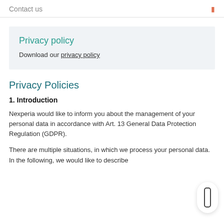Contact us
Privacy policy
Download our privacy policy
Privacy Policies
1. Introduction
Nexperia would like to inform you about the management of your personal data in accordance with Art. 13 General Data Protection Regulation (GDPR).
There are multiple situations, in which we process your personal data. In the following, we would like to describe